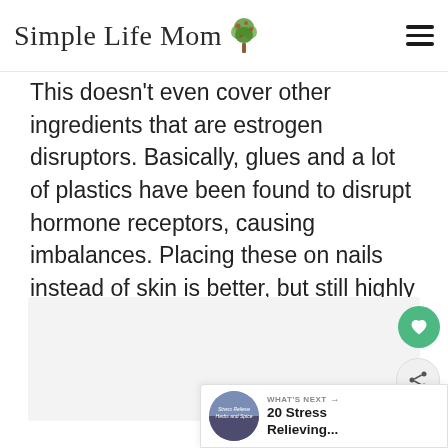Simple Life Mom
This doesn't even cover other ingredients that are estrogen disruptors. Basically, glues and a lot of plastics have been found to disrupt hormone receptors, causing imbalances. Placing these on nails instead of skin is better, but still highly questionable.
[Figure (photo): Image placeholder area, light gray background]
[Figure (screenshot): What's Next panel: 20 Stress Relieving... with thumbnail]